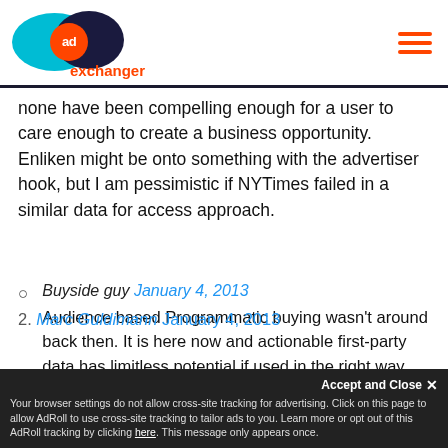[Figure (logo): AdExchanger logo: teal and dark navy overlapping ellipses with orange 'ad' circle and orange 'exchanger' text]
none have been compelling enough for a user to care enough to create a business opportunity. Enliken might be onto something with the advertiser hook, but I am pessimistic if NYTimes failed in a similar data for access approach.
Buyside guy January 4, 2013
Audience based Programmatic buying wasn't around back then. It is here now and actionable first-party data has limitless potential if used in the right way.
2. Marc Guldimann January 4, 2013
Your browser settings do not allow cross-site tracking for advertising. Click on this page to allow AdRoll to use cross-site tracking to tailor ads to you. Learn more or opt out of this AdRoll tracking by clicking here. This message only appears once.